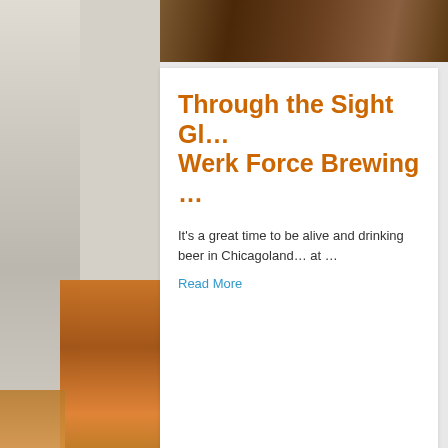[Figure (photo): Top banner photo showing a brewery or bar scene, dark warm tones]
Through the Sight Gl… Werk Force Brewing …
It's a great time to be alive and drinking beer in Chicagoland… at …
Read More
[Figure (photo): Partial second article image visible at bottom right]